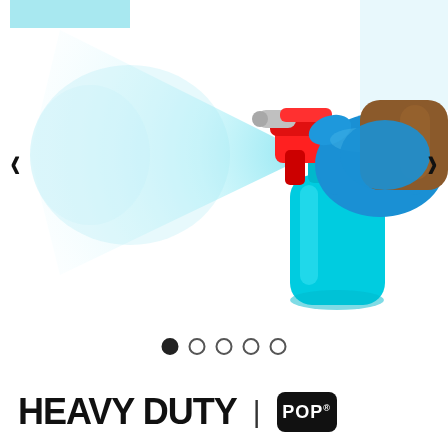[Figure (photo): A hand wearing a blue rubber glove holding a cyan/turquoise spray bottle with a red trigger, spraying a blue mist to the left. Navigation arrows (left and right chevrons) are overlaid on the sides. White background with light blue accent top-right.]
[Figure (infographic): Carousel dot indicators: 5 dots, first one filled black (active), remaining 4 are empty circles with dark border.]
HEAVY DUTY | POP*